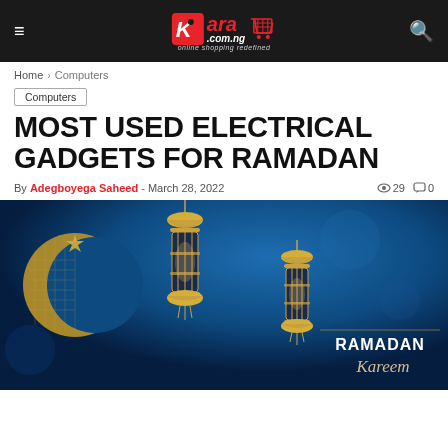Kara.com.ng — online shopping redefined
Home › Computers
Computers
MOST USED ELECTRICAL GADGETS FOR RAMADAN
By Adegboyega Saheed - March 28, 2022  👁 29  💬 0
[Figure (photo): Ramadan Kareem decorative image with golden crescent moon, hanging lanterns on a dark blue background with text 'RAMADAN Kareem']